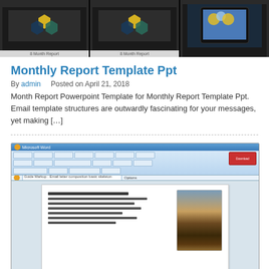[Figure (screenshot): Top banner showing two blurred PowerPoint monthly report template slides with dark background and hexagon icons]
Monthly Report Template Ppt
By admin     Posted on April 21, 2018
Month Report Powerpoint Template for Monthly Report Template Ppt. Email template structures are outwardly fascinating for your messages, yet making […]
[Figure (screenshot): Screenshot of a Windows application (Microsoft Word or similar) showing a letter/email template with address block and a tree photo]